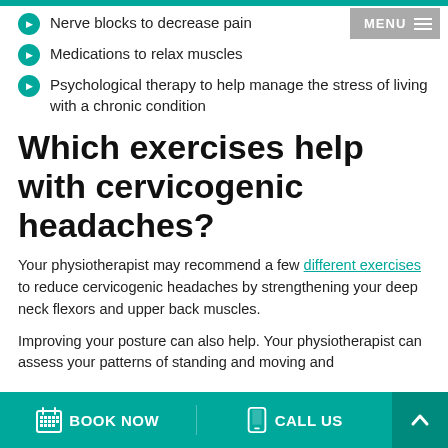Nerve blocks to decrease pain
Medications to relax muscles
Psychological therapy to help manage the stress of living with a chronic condition
Which exercises help with cervicogenic headaches?
Your physiotherapist may recommend a few different exercises to reduce cervicogenic headaches by strengthening your deep neck flexors and upper back muscles.
Improving your posture can also help. Your physiotherapist can assess your patterns of standing and moving and
BOOK NOW   CALL US